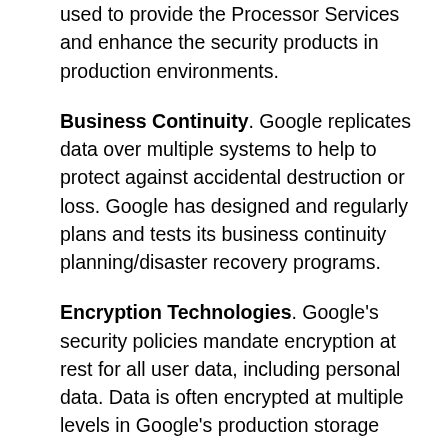used to provide the Processor Services and enhance the security products in production environments.
Business Continuity. Google replicates data over multiple systems to help to protect against accidental destruction or loss. Google has designed and regularly plans and tests its business continuity planning/disaster recovery programs.
Encryption Technologies. Google's security policies mandate encryption at rest for all user data, including personal data. Data is often encrypted at multiple levels in Google's production storage stacking, data centers including the